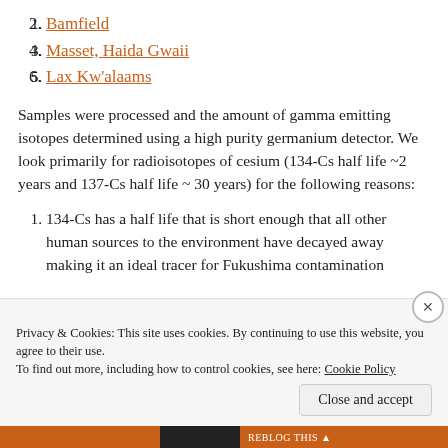Bamfield
Masset, Haida Gwaii
Lax Kw'alaams
Samples were processed and the amount of gamma emitting isotopes determined using a high purity germanium detector. We look primarily for radioisotopes of cesium (134-Cs half life ~2 years and 137-Cs half life ~ 30 years) for the following reasons:
134-Cs has a half life that is short enough that all other human sources to the environment have decayed away making it an ideal tracer for Fukushima contamination
Privacy & Cookies: This site uses cookies. By continuing to use this website, you agree to their use.
To find out more, including how to control cookies, see here: Cookie Policy